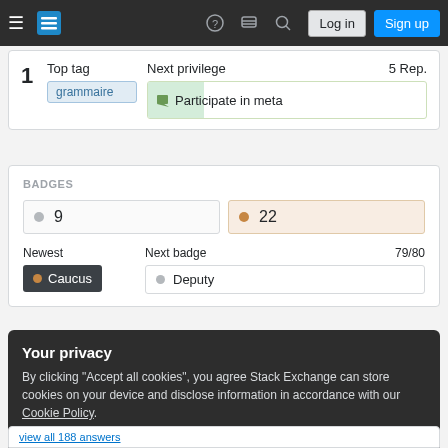Stack Exchange navigation bar with Log in and Sign up buttons
1  Top tag  grammaire  |  Next privilege  5 Rep.  Participate in meta
BADGES
9 (silver badges)  |  22 (bronze badges)
Newest  Caucus  |  Next badge  79/80  Deputy
Your privacy
By clicking "Accept all cookies", you agree Stack Exchange can store cookies on your device and disclose information in accordance with our Cookie Policy.
Accept all cookies   Customize settings